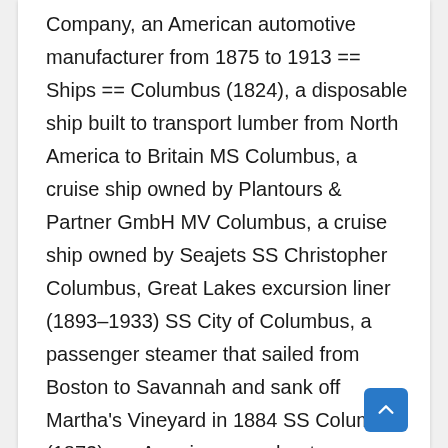Company, an American automotive manufacturer from 1875 to 1913 == Ships == Columbus (1824), a disposable ship built to transport lumber from North America to Britain MS Columbus, a cruise ship owned by Plantours & Partner GmbH MV Columbus, a cruise ship owned by Seajets SS Christopher Columbus, Great Lakes excursion liner (1893–1933) SS City of Columbus, a passenger steamer that sailed from Boston to Savannah and sank off Martha's Vineyard in 1884 SS Columbus (1873), an American merchantman converted in 1878 into the Russian cruiser Asia SS Columbus (1924), a transatlantic ocean liner for the North German Lloyd steamship line USS Columbus, various ships of the US Navy == Other uses == Columbus hops, a variety of hops. Cultivation of Columbus...